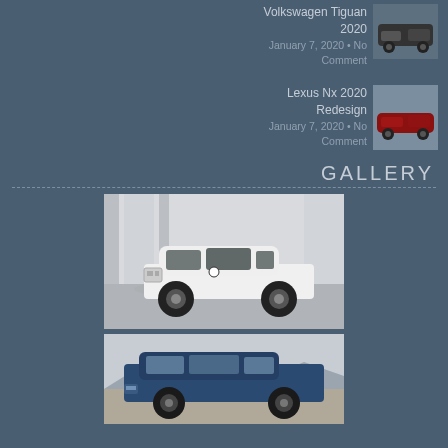Volkswagen Tiguan 2020
January 7, 2020 • No Comment
[Figure (photo): Volkswagen Tiguan 2020 thumbnail photo - dark SUV]
Lexus Nx 2020 Redesign
January 7, 2020 • No Comment
[Figure (photo): Lexus NX 2020 thumbnail photo - red crossover]
GALLERY
[Figure (photo): White BMW 6 Series Gran Coupe parked in a modern showroom]
[Figure (photo): Dark blue SUV photographed outdoors with mountains in background - partially visible]